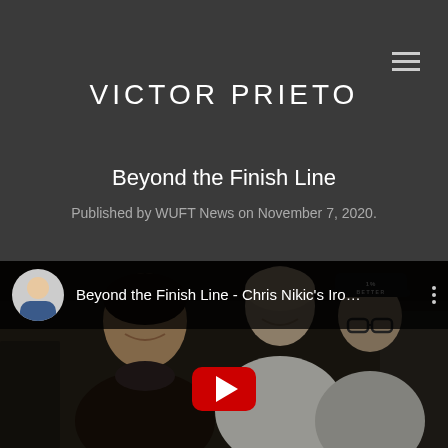VICTOR PRIETO
Beyond the Finish Line
Published by WUFT News on November 7, 2020.
[Figure (screenshot): YouTube video embed showing 'Beyond the Finish Line - Chris Nikic's Iro...' with a thumbnail of people and a red play button. Channel avatar shows a man in a blue shirt.]